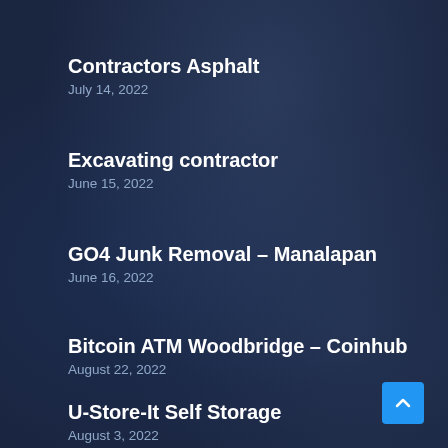Contractors Asphalt
July 14, 2022
Excavating contractor
June 15, 2022
GO4 Junk Removal – Manalapan
June 16, 2022
Bitcoin ATM Woodbridge – Coinhub
August 22, 2022
U-Store-It Self Storage
August 3, 2022